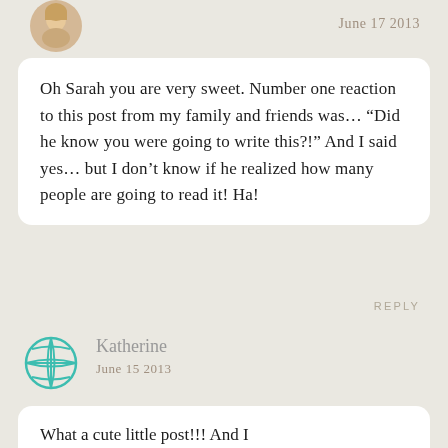[Figure (photo): Circular avatar photo of a woman with blonde hair]
June 17 2013
Oh Sarah you are very sweet. Number one reaction to this post from my family and friends was… “Did he know you were going to write this?!” And I said yes… but I don’t know if he realized how many people are going to read it! Ha!
REPLY
[Figure (illustration): Teal globe/world icon]
Katherine
June 15 2013
What a cute little post!!! And I